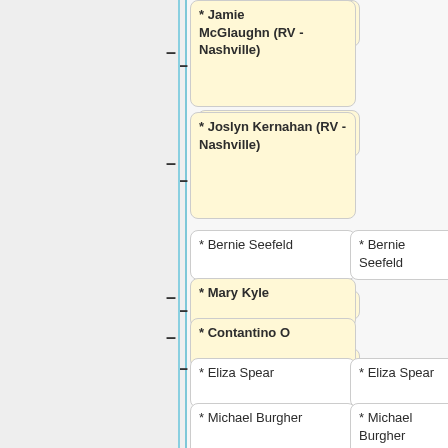[Figure (flowchart): Genealogy/family tree chart showing nodes with names connected by lines. Nodes include: Jamie McGlaughn (RV - Nashville), Joslyn Kernahan (RV - Nashville), Bernie Seefeld (x2), Mary Kyle, Contantino O, Eliza Spear (x2), Michael Burgher (x2), Afifah (x2), Nan (x2), Paulo (x2, one with blue outline), Siu Choon (x2, partial). Yellow-highlighted nodes on left column, white nodes on right column. Vertical blue line divides left grey area from right area.]